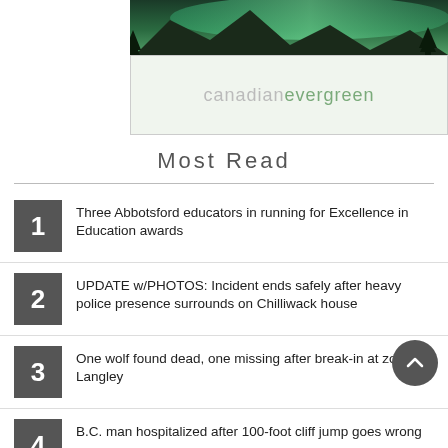[Figure (illustration): Advertisement banner for Canadian Evergreen — top portion shows a forest/aurora borealis photo, bottom portion shows the 'canadianevergreen' logo text on light green background.]
Most Read
1 Three Abbotsford educators in running for Excellence in Education awards
2 UPDATE w/PHOTOS: Incident ends safely after heavy police presence surrounds on Chilliwack house
3 One wolf found dead, one missing after break-in at zoo in Langley
4 B.C. man hospitalized after 100-foot cliff jump goes wrong
5 VIDEO: Active B.C. senior described by friend as 'feisty'